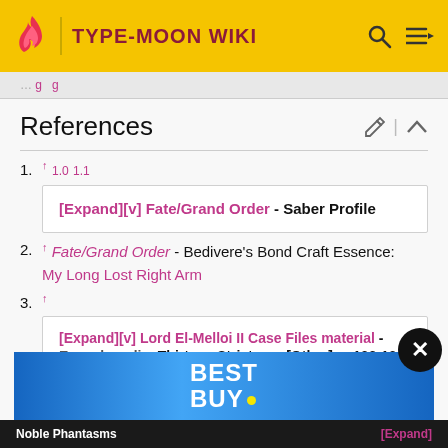TYPE-MOON WIKI
References
1. ↑ 1.0 1.1
[Expand][v] Fate/Grand Order - Saber Profile
2. ↑ Fate/Grand Order - Bedivere's Bond Craft Essence: My Long Lost Right Arm
3. ↑
[Expand][v] Lord El-Melloi II Case Files material - Encyclopedia: Thirteen Strictures [Other], p.102-103
[Figure (screenshot): Best Buy advertisement banner]
Noble Phantasms    [Expand]